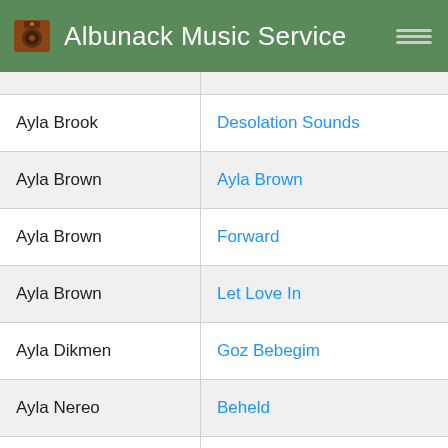Albunack Music Service
| Artist | Album |
| --- | --- |
| Ayla Brook | Desolation Sounds |
| Ayla Brown | Ayla Brown |
| Ayla Brown | Forward |
| Ayla Brown | Let Love In |
| Ayla Dikmen | Goz Bebegim |
| Ayla Nereo | Beheld |
| Ayla Nereo | By the Light of the Dark Moon |
| Ayla Nereo | Floating Felt |